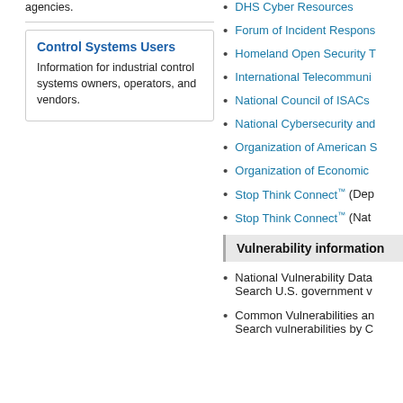agencies.
Control Systems Users
Information for industrial control systems owners, operators, and vendors.
DHS Cyber Resources
Forum of Incident Respons...
Homeland Open Security T...
International Telecommuni...
National Council of ISACs
National Cybersecurity and...
Organization of American S...
Organization of Economic...
Stop Think Connect™ (Dep...
Stop Think Connect™ (Nat...
Vulnerability information
National Vulnerability Data... Search U.S. government v...
Common Vulnerabilities an... Search vulnerabilities by C...